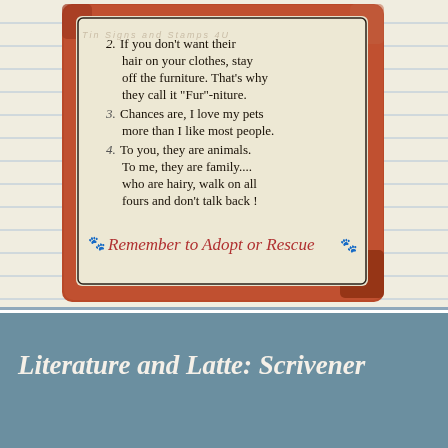[Figure (photo): A vintage-style distressed metal sign with a cream/off-white background and red-orange rusted border. The sign contains a numbered list of pet owner rules and a cursive 'Remember to Adopt or Rescue' message with paw print icons at the bottom. The sign text reads: item 2 - 'If you don't want their hair on your clothes, stay off the furniture. That's why they call it "Fur"-niture.'; item 3 - 'Chances are, I love my pets more than I like most people.'; item 4 - 'To you, they are animals. To me, they are family.... who are hairy, walk on all fours and don't talk back!' The sign is shown against a lined notebook paper background.]
Literature and Latte: Scrivener